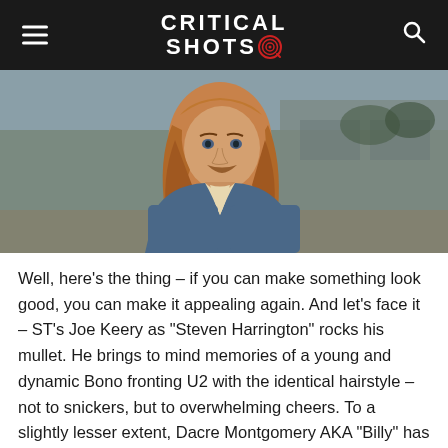Critical Shots
[Figure (photo): Young man with shoulder-length reddish-brown hair and a thin mustache wearing a denim jacket over a white shirt, standing outdoors with a blurred background of a building and trees.]
Well, here’s the thing – if you can make something look good, you can make it appealing again. And let’s face it – ST’s Joe Keery as “Steven Harrington” rocks his mullet. He brings to mind memories of a young and dynamic Bono fronting U2 with the identical hairstyle – not to snickers, but to overwhelming cheers. To a slightly lesser extent, Dacre Montgomery AKA “Billy” has a cool mullet, too, though it would benefit from being brushed past his ears from time to